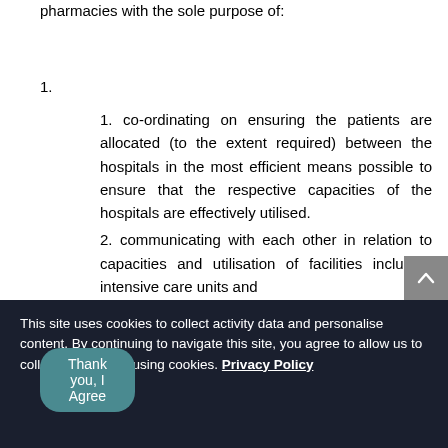pharmacies with the sole purpose of:
1.
1. co-ordinating on ensuring the patients are allocated (to the extent required) between the hospitals in the most efficient means possible to ensure that the respective capacities of the hospitals are effectively utilised.
2. communicating with each other in relation to capacities and utilisation of facilities including intensive care units and
This site uses cookies to collect activity data and personalise content. By continuing to navigate this site, you agree to allow us to collect information using cookies. Privacy Policy
Thank you, I Agree